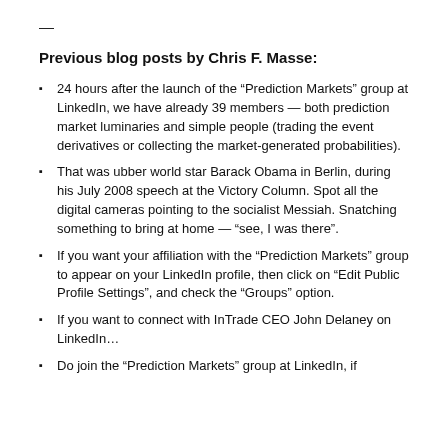—
Previous blog posts by Chris F. Masse:
24 hours after the launch of the “Prediction Markets” group at LinkedIn, we have already 39 members — both prediction market luminaries and simple people (trading the event derivatives or collecting the market-generated probabilities).
That was ubber world star Barack Obama in Berlin, during his July 2008 speech at the Victory Column. Spot all the digital cameras pointing to the socialist Messiah. Snatching something to bring at home — “see, I was there”.
If you want your affiliation with the “Prediction Markets” group to appear on your LinkedIn profile, then click on “Edit Public Profile Settings”, and check the “Groups” option.
If you want to connect with InTrade CEO John Delaney on LinkedIn…
Do join the “Prediction Markets” group at LinkedIn, if